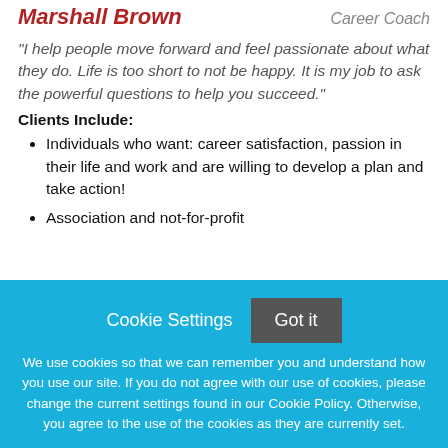Marshall Brown — Career Coach
"I help people move forward and feel passionate about what they do. Life is too short to not be happy. It is my job to ask the powerful questions to help you succeed."
Clients Include:
Individuals who want: career satisfaction, passion in their life and work and are willing to develop a plan and take action!
Association and not-for-profit
Cookie Settings   Got it
We use cookies so that we can remember you and understand how you use our site. If you do not agree with our use of cookies, please change the current settings found in our Cookie Policy. Otherwise, you agree to the use of the cookies as they are currently set.